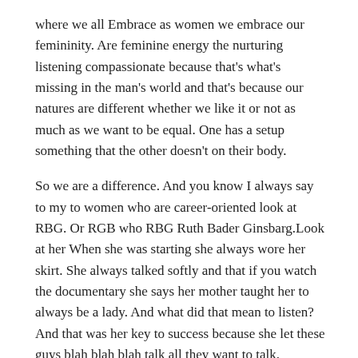where we all Embrace as women we embrace our femininity. Are feminine energy the nurturing listening compassionate because that's what's missing in the man's world and that's because our natures are different whether we like it or not as much as we want to be equal. One has a setup something that the other doesn't on their body.
So we are a difference. And you know I always say to my to women who are career-oriented look at RBG. Or RGB who RBG Ruth Bader Ginsbarg.Look at her When she was starting she always wore her skirt. She always talked softly and that if you watch the documentary she says her mother taught her to always be a lady. And what did that mean to listen? And that was her key to success because she let these guys blah blah blah talk all they want to talk.
Patty: Wait and she was supposed to take kind of a